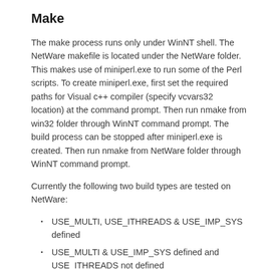Make
The make process runs only under WinNT shell. The NetWare makefile is located under the NetWare folder. This makes use of miniperl.exe to run some of the Perl scripts. To create miniperl.exe, first set the required paths for Visual c++ compiler (specify vcvars32 location) at the command prompt. Then run nmake from win32 folder through WinNT command prompt. The build process can be stopped after miniperl.exe is created. Then run nmake from NetWare folder through WinNT command prompt.
Currently the following two build types are tested on NetWare:
USE_MULTI, USE_ITHREADS & USE_IMP_SYS defined
USE_MULTI & USE_IMP_SYS defined and USE_ITHREADS not defined
Interpreter